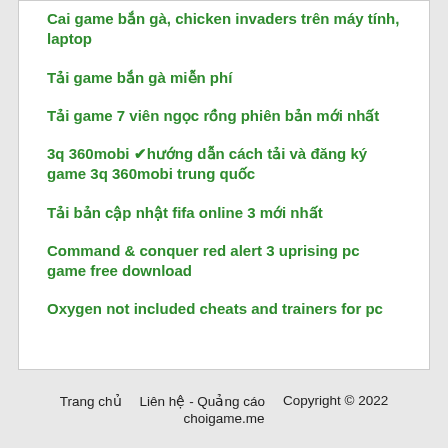Cai game bắn gà, chicken invaders trên máy tính, laptop
Tải game bắn gà miễn phí
Tải game 7 viên ngọc rồng phiên bản mới nhất
3q 360mobi ✔hướng dẫn cách tải và đăng ký game 3q 360mobi trung quốc
Tải bản cập nhật fifa online 3 mới nhất
Command & conquer red alert 3 uprising pc game free download
Oxygen not included cheats and trainers for pc
Trang chủ    Liên hệ - Quảng cáo    Copyright © 2022 choigame.me